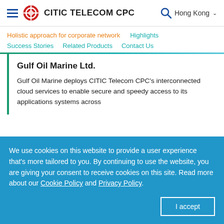CITIC TELECOM CPC — Hong Kong
Holistic approach for corporate network
Highlights
Success Stories
Related Products
Contact Us
Gulf Oil Marine Ltd.
Gulf Oil Marine deploys CITIC Telecom CPC's interconnected cloud services to enable secure and speedy access to its applications systems across
We use cookies on this website to provide a user experience that's more tailored to you. By continuing to use the website, you are giving your consent to receive cookies on this site. Read more about our Cookie Policy and Privacy Policy.